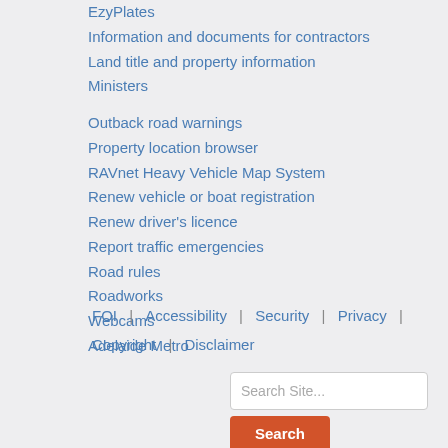EzyPlates
Information and documents for contractors
Land title and property information
Ministers
Outback road warnings
Property location browser
RAVnet Heavy Vehicle Map System
Renew vehicle or boat registration
Renew driver's licence
Report traffic emergencies
Road rules
Roadworks
Webcams
Adelaide Metro
FOI  |   Accessibility  |   Security  |   Privacy  |  Copyright  |   Disclaimer
Search Site...
Search